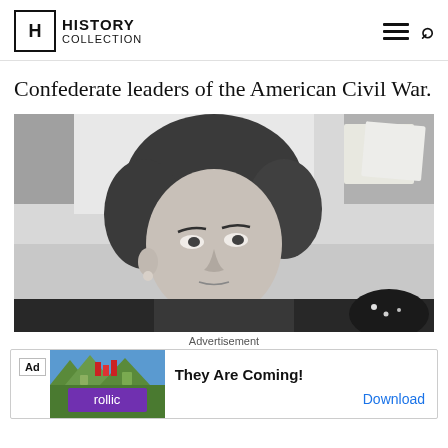HISTORY COLLECTION
Confederate leaders of the American Civil War.
[Figure (photo): Black and white photograph of a woman with dark curly hair, looking slightly to the side, indoors with light background]
Advertisement
[Figure (infographic): Advertisement banner: Ad badge, colorful game graphic with Rollic logo, text 'They Are Coming!' and Download link]